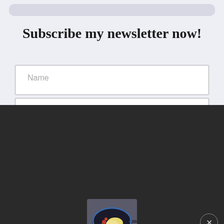Subscribe my newsletter now!
Name
[Figure (photo): Food image showing a frying pan with cooked food, possibly scrambled eggs and vegetables, served on a dark pan]
THE BEST IN HYDERABAD - FOOD & WINE
Your Email Address
Join